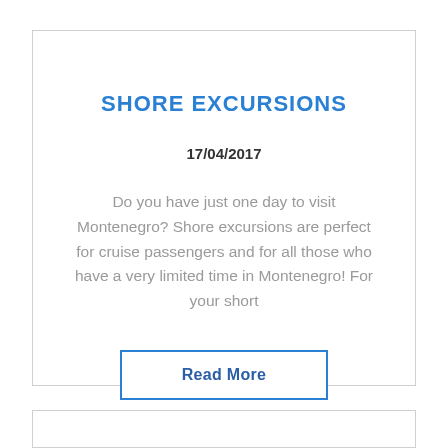SHORE EXCURSIONS
17/04/2017
Do you have just one day to visit Montenegro? Shore excursions are perfect for cruise passengers and for all those who have a very limited time in Montenegro! For your short
Read More